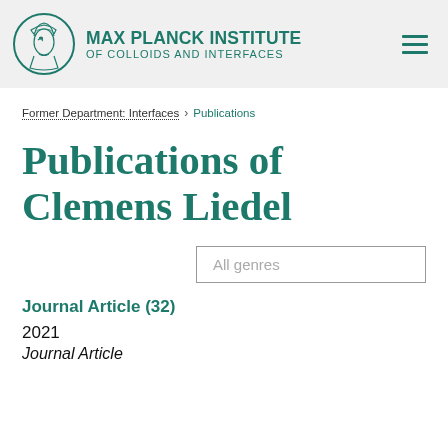MAX PLANCK INSTITUTE OF COLLOIDS AND INTERFACES
Former Department: Interfaces > Publications
Publications of Clemens Liedel
All genres
Journal Article (32)
2021
Journal Article